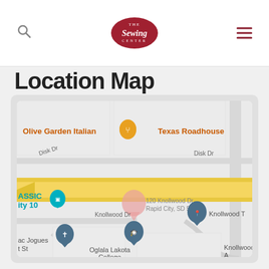The Sewing Center
Location Map
[Figure (map): Google Maps screenshot showing location at 120 Knollwood Dr, Rapid City, SD 57701. Nearby landmarks include Olive Garden Italian, Texas Roadhouse, Oglala Lakota College, Knollwood Dr, and a church marker. A major highway (yellow road) runs east-west through the map.]